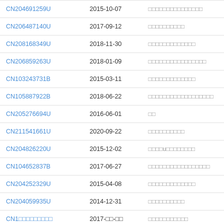| Patent Number | Date | Description |
| --- | --- | --- |
| CN204691259U | 2015-10-07 | □□□□□□□□□□□□□□□ |
| CN206487140U | 2017-09-12 | □□□□□□□□□□ |
| CN208168349U | 2018-11-30 | □□□□□□□□□□□□□ |
| CN206859263U | 2018-01-09 | □□□□□□□□□□□□□□□□ |
| CN103243731B | 2015-03-11 | □□□□□□□□□□□□□ |
| CN105887922B | 2018-06-22 | □□□□□□□□□□□□□□□□□□ |
| CN205276694U | 2016-06-01 | □□ |
| CN211541661U | 2020-09-22 | □□□□□□□□□□ |
| CN204826220U | 2015-12-02 | □□□□u□□□□□□□□ |
| CN104652837B | 2017-06-27 | □□□□□□□□□□□□□□□□□ |
| CN204252329U | 2015-04-08 | □□□□□□□□□□□□□ |
| CN204059935U | 2014-12-31 | □□□□□□□□□□ |
| CN1□□□□□□□□□ | 2017-□□-□□ | □□□□□□□□□□□ |